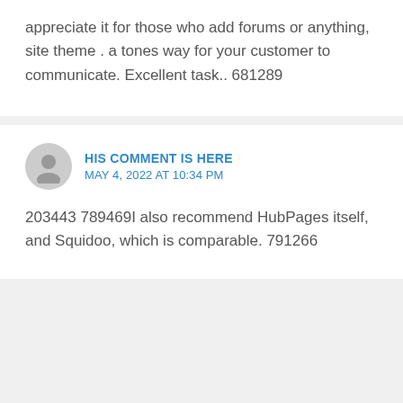appreciate it for those who add forums or anything, site theme . a tones way for your customer to communicate. Excellent task.. 681289
HIS COMMENT IS HERE
MAY 4, 2022 AT 10:34 PM
203443 789469I also recommend HubPages itself, and Squidoo, which is comparable. 791266